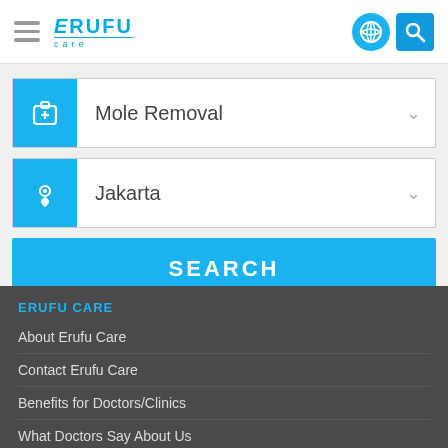[Figure (logo): Erufu Care logo with hamburger menu, globe icon, and search icon in header]
Mole Removal
Jakarta
SEARCH
ERUFU CARE
About Erufu Care
Contact Erufu Care
Benefits for Doctors/Clinics
What Doctors Say About Us